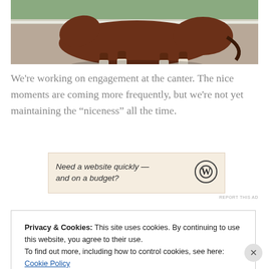[Figure (photo): Close-up photo of a horse trotting, showing legs and body from mid-section down, with white bandages on legs, taken at an equestrian arena]
We're working on engagement at the canter. The nice moments are coming more frequently, but we're not yet maintaining the “niceness” all the time.
[Figure (other): Advertisement banner with beige background reading 'Need a website quickly — and on a budget?' with WordPress logo]
REPORT THIS AD
Privacy & Cookies: This site uses cookies. By continuing to use this website, you agree to their use.
To find out more, including how to control cookies, see here: Cookie Policy